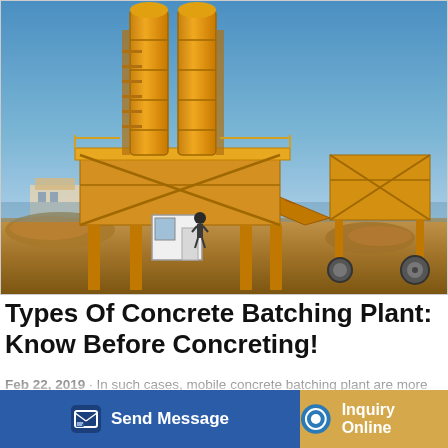[Figure (photo): Photograph of a yellow/orange mobile concrete batching plant with twin silos, conveyor belt, and aggregate hopper, set on a construction site with a blue sky background.]
Types Of Concrete Batching Plant: Know Before Concreting!
Feb 22, 2019 · In such cases, mobile concrete batching plant are more popular. They are compact batching plants, which has material storage, weighing, mixing, and discharging units. It has flexible movement and hence can be transported to the [ning o] [nt, the]